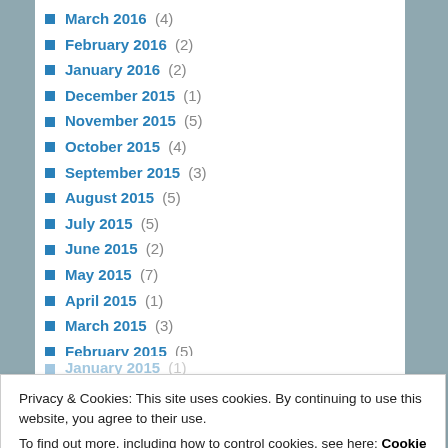March 2016 (4)
February 2016 (2)
January 2016 (2)
December 2015 (1)
November 2015 (5)
October 2015 (4)
September 2015 (3)
August 2015 (5)
July 2015 (5)
June 2015 (2)
May 2015 (7)
April 2015 (1)
March 2015 (3)
February 2015 (5)
January 2015 (1)
Privacy & Cookies: This site uses cookies. By continuing to use this website, you agree to their use.
To find out more, including how to control cookies, see here: Cookie Policy
June 2014 (2)